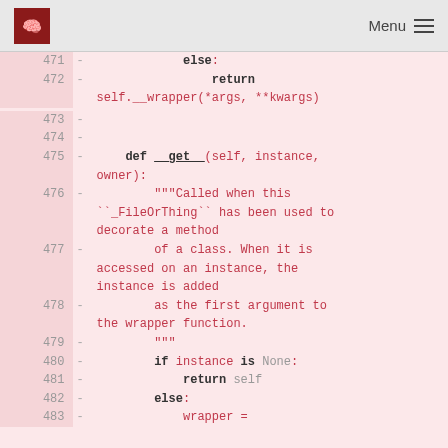Menu
[Figure (screenshot): Code diff view showing Python lines 471-483, lines deleted (marked with -), on a pink background. Code shows else/return self.__wrapper, def __get__ method with docstring, and if/else instance checks.]